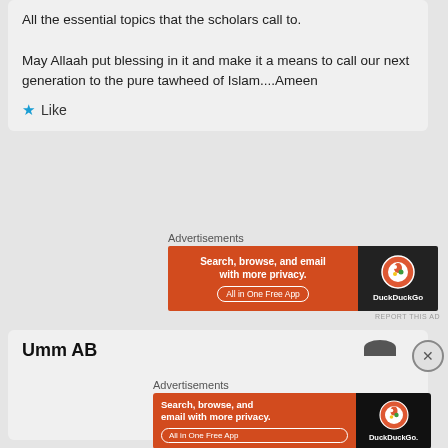All the essential topics that the scholars call to.

May Allaah put blessing in it and make it a means to call our next generation to the pure tawheed of Islam....Ameen
★ Like
Advertisements
[Figure (screenshot): DuckDuckGo advertisement banner: orange left side with text 'Search, browse, and email with more privacy. All in One Free App' and dark right side with DuckDuckGo logo]
REPORT THIS AD
Umm AB
Advertisements
[Figure (screenshot): DuckDuckGo advertisement banner (larger): orange left side with text 'Search, browse, and email with more privacy. All in One Free App' and dark right side with DuckDuckGo logo on phone]